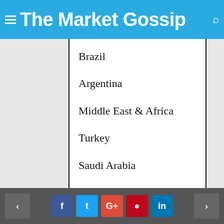The Market Gossip
Brazil
Argentina
Middle East & Africa
Turkey
Saudi Arabia
U.A.E
Geographically, the detailed analysis of consumption, revenue, market share, and growth rate of the following regions:
< f t G+ p in >